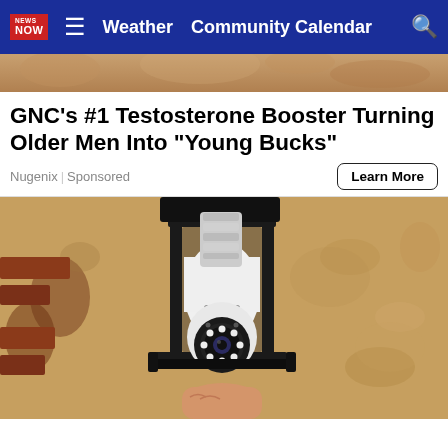NEWS NOW | Weather  Community Calendar | [search]
[Figure (photo): Top partial image strip showing a close-up photo (skin/face tones), cropped]
GNC's #1 Testosterone Booster Turning Older Men Into "Young Bucks"
Nugenix | Sponsored
[Figure (photo): Photo of a black metal outdoor wall lantern with a white light-bulb security camera inserted into it, against a textured stucco wall. A hand holds the camera bulb from below.]